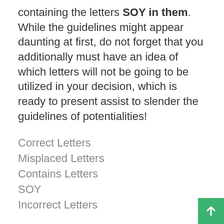containing the letters SOY in them. While the guidelines might appear daunting at first, do not forget that you additionally must have an idea of which letters will not be going to be utilized in your decision, which is ready to present assist to slender the guidelines of potentialities!
Correct Letters
Misplaced Letters
Contains Letters
SOY
Incorrect Letters
5-Letter Words with SOY in Them List